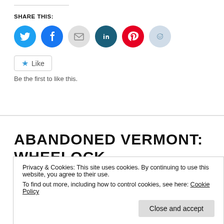SHARE THIS:
[Figure (infographic): Social share buttons: Twitter (blue), Facebook (blue), Email (gray), LinkedIn (dark teal), Pinterest (red), Reddit (light blue)]
Like
Be the first to like this.
ABANDONED VERMONT: WHEELOCK SCHOOLHOUSE
Privacy & Cookies: This site uses cookies. By continuing to use this website, you agree to their use. To find out more, including how to control cookies, see here: Cookie Policy
have a newfound adoration for concrete bridges so we